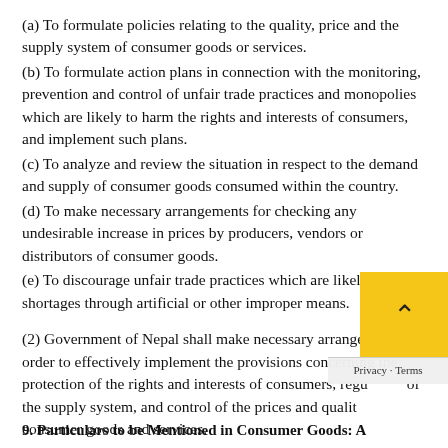(a) To formulate policies relating to the quality, price and the supply system of consumer goods or services.
(b) To formulate action plans in connection with the monitoring, prevention and control of unfair trade practices and monopolies which are likely to harm the rights and interests of consumers, and implement such plans.
(c) To analyze and review the situation in respect to the demand and supply of consumer goods consumed within the country.
(d) To make necessary arrangements for checking any undesirable increase in prices by producers, vendors or distributors of consumer goods.
(e) To discourage unfair trade practices which are likely to create shortages through artificial or other improper means.
(2) Government of Nepal shall make necessary arrangements in order to effectively implement the provisions concerning the protection of the rights and interests of consumers, regulation of the supply system, and control of the prices and quality of consumer goods and services.
9. Particulars to be Mentioned in Consumer Goods: A